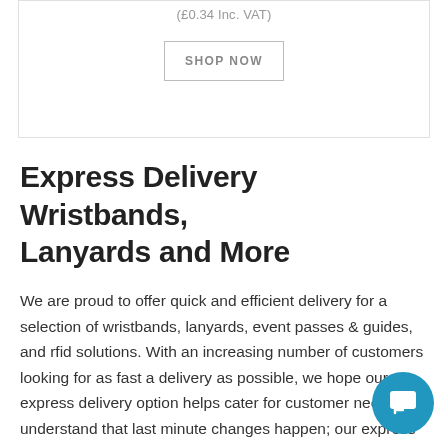(£0.34 Inc. VAT)
SHOP NOW
Express Delivery Wristbands, Lanyards and More
We are proud to offer quick and efficient delivery for a selection of wristbands, lanyards, event passes & guides, and rfid solutions. With an increasing number of customers looking for as fast a delivery as possible, we hope our express delivery option helps cater for customer needs. We understand that last minute changes happen; our express service alleviates the stresses or worries you might experience when wondering if your event accessories will arrive in time. You can have peace of mind knowing your products will be with you in no time. We offer delivery times of 2-10 working days if you place your order...